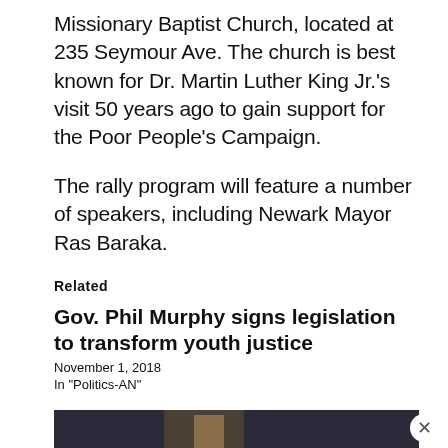Missionary Baptist Church, located at 235 Seymour Ave. The church is best known for Dr. Martin Luther King Jr.'s visit 50 years ago to gain support for the Poor People's Campaign.
The rally program will feature a number of speakers, including Newark Mayor Ras Baraka.
Related
Gov. Phil Murphy signs legislation to transform youth justice
November 1, 2018
In "Politics-AN"
[Figure (photo): Partial view of a person at a podium or presentation, dark background, partially visible at bottom of page]